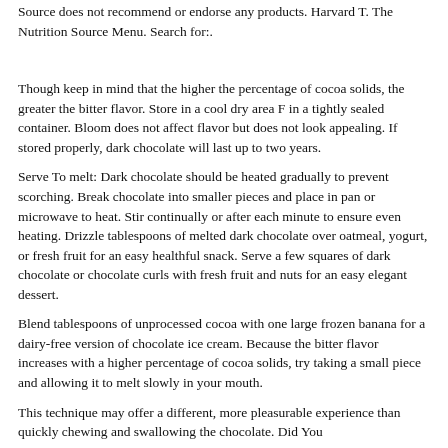Source does not recommend or endorse any products. Harvard T. The Nutrition Source Menu. Search for:.
Though keep in mind that the higher the percentage of cocoa solids, the greater the bitter flavor. Store in a cool dry area F in a tightly sealed container. Bloom does not affect flavor but does not look appealing. If stored properly, dark chocolate will last up to two years.
Serve To melt: Dark chocolate should be heated gradually to prevent scorching. Break chocolate into smaller pieces and place in pan or microwave to heat. Stir continually or after each minute to ensure even heating. Drizzle tablespoons of melted dark chocolate over oatmeal, yogurt, or fresh fruit for an easy healthful snack. Serve a few squares of dark chocolate or chocolate curls with fresh fruit and nuts for an easy elegant dessert.
Blend tablespoons of unprocessed cocoa with one large frozen banana for a dairy-free version of chocolate ice cream. Because the bitter flavor increases with a higher percentage of cocoa solids, try taking a small piece and allowing it to melt slowly in your mouth.
This technique may offer a different, more pleasurable experience than quickly chewing and swallowing the chocolate. Did You